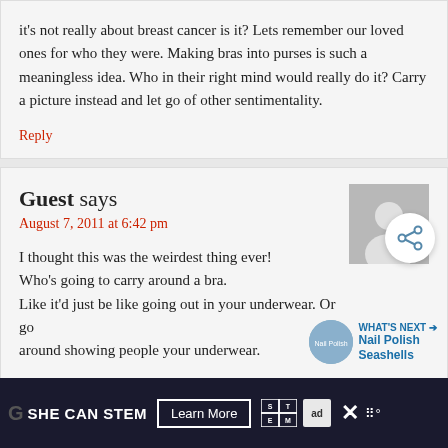it's not really about breast cancer is it? Lets remember our loved ones for who they were. Making bras into purses is such a meaningless idea. Who in their right mind would really do it? Carry a picture instead and let go of other sentimentality.
Reply
Guest says
August 7, 2011 at 6:42 pm
I thought this was the weirdest thing ever! Who's going to carry around a bra. Like it'd just be like going out in your underwear. Or go around showing people your underwear.
Reply
WHAT'S NEXT → Nail Polish Seashells
SHE CAN STEM Learn More